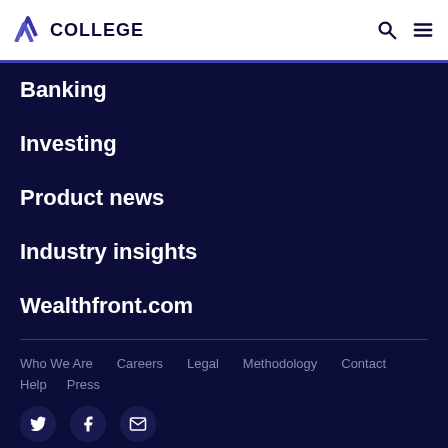COLLEGE
Banking
Investing
Product news
Industry insights
Wealthfront.com
Who We Are   Careers   Legal   Methodology   Contact
Help   Press